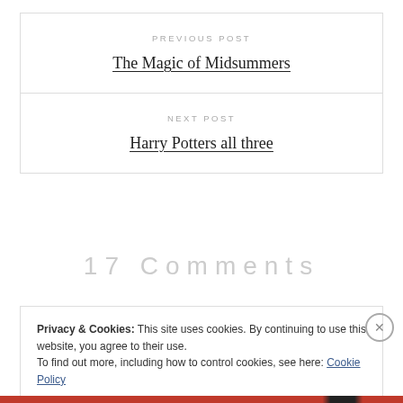PREVIOUS POST
The Magic of Midsummers
NEXT POST
Harry Potters all three
17 Comments
Privacy & Cookies: This site uses cookies. By continuing to use this website, you agree to their use.
To find out more, including how to control cookies, see here: Cookie Policy
Close and accept